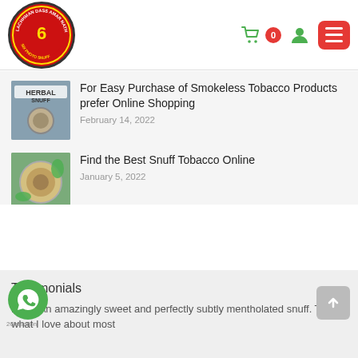[Figure (logo): Six Photo Snuff circular logo — Lachhman Dass Amar Nath, red circle with number 6 and text SIX PHOTO SNUFF]
For Easy Purchase of Smokeless Tobacco Products prefer Online Shopping
February 14, 2022
Find the Best Snuff Tobacco Online
January 5, 2022
Testimonials
Motia An amazingly sweet and perfectly subtly mentholated snuff. This is what I love about most